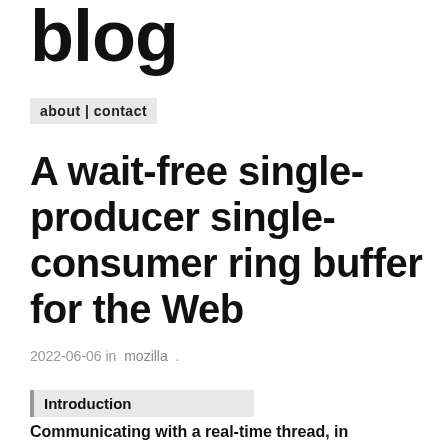blog
about | contact
A wait-free single-producer single-consumer ring buffer for the Web
2022-06-06 in  mozilla  .
Introduction
Communicating with a real-time thread, in